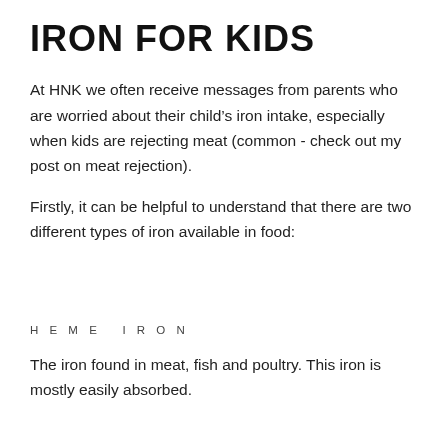IRON FOR KIDS
At HNK we often receive messages from parents who are worried about their child's iron intake, especially when kids are rejecting meat (common - check out my post on meat rejection).
Firstly, it can be helpful to understand that there are two different types of iron available in food:
HEME IRON
The iron found in meat, fish and poultry. This iron is mostly easily absorbed.